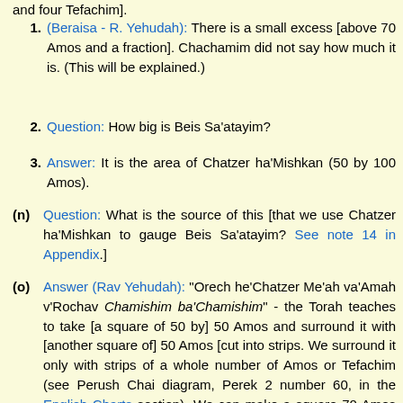and four Tefachim].
(Beraisa - R. Yehudah): There is a small excess [above 70 Amos and a fraction]. Chachamim did not say how much it is. (This will be explained.)
Question: How big is Beis Sa'atayim?
Answer: It is the area of Chatzer ha'Mishkan (50 by 100 Amos).
(n) Question: What is the source of this [that we use Chatzer ha'Mishkan to gauge Beis Sa'atayim? See note 14 in Appendix.]
(o) Answer (Rav Yehudah): "Orech he'Chatzer Me'ah va'Amah v'Rochav Chamishim ba'Chamishim" - the Torah teaches to take [a square of 50 by] 50 Amos and surround it with [another square of] 50 Amos [cut into strips. We surround it only with strips of a whole number of Amos or Tefachim (see Perush Chai diagram, Perek 2 number 60, in the English Charts section). We can make a square 70 Amos and four Tefachim and a small remainder. R. Akiva allows only this size [without the remainder], and the first Tana